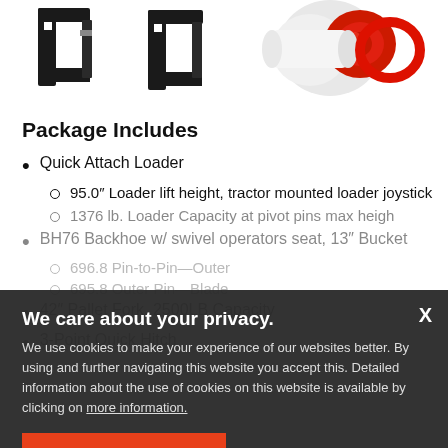[Figure (photo): Product images — Quick Attach Loader pins/brackets (left) and a red/white hydraulic coupler or fitting (right)]
Package Includes
Quick Attach Loader
95.0″ Loader lift height, tractor mounted loader joystick
1376 lb. Loader Capacity at pivot pins max height
BH76 Backhoe w/ swivel operators seat, 13″ Bucket
696.8 Pin-to-Pin—Outer
695.8 Outer Pin—Blade
42″ Pallet Fork, 2500LB Capacity
3-Point Quick Hitch
We care about your privacy. We use cookies to make your experience of our websites better. By using and further navigating this website you accept this. Detailed information about the use of cookies on this website is available by clicking on more information.
ACCEPT AND CLOSE